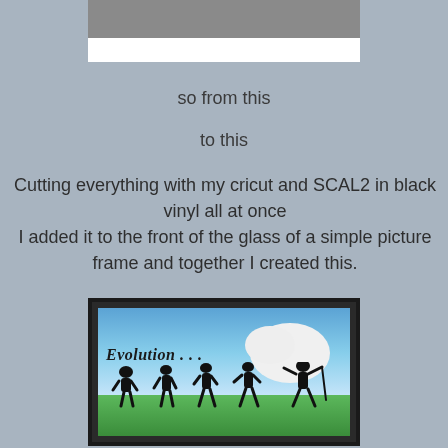[Figure (photo): Top portion of a picture frame or framed image showing a gray upper section and white lower section]
so from this
to this
Cutting everything with my cricut and SCAL2 in black vinyl all at once
I added it to the front of the glass of a simple picture frame and together I created this.
[Figure (photo): A framed picture with a dark frame showing a golf evolution image: blue sky with clouds, large white golf ball, green grass, the word 'Evolution...' in stylized text, and silhouettes showing human evolution from ape to golfer]